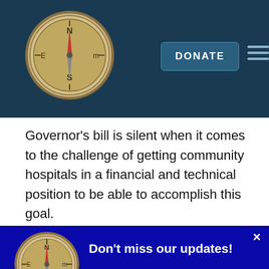DONATE
Governor’s bill is silent when it comes to the challenge of getting community hospitals in a financial and technical position to be able to accomplish this goal.

There are also legitimate concerns about ACO
[Figure (other): Popup notification with compass logo, text 'Don't miss our updates!' and a Subscribe now button on dark blue background]